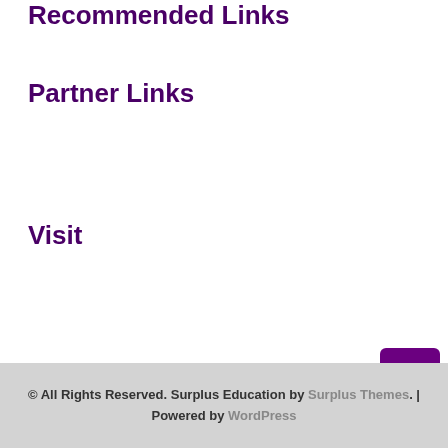Recommended Links
Partner Links
Visit
School Education
© All Rights Reserved. Surplus Education by Surplus Themes. | Powered by WordPress